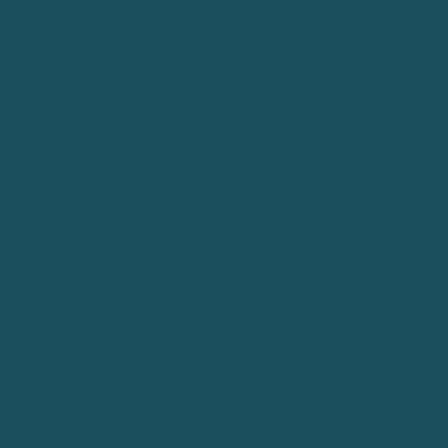ged into the smoke filled hell of the room.

I lowered my binoculars. I was imagining what was going on in ther